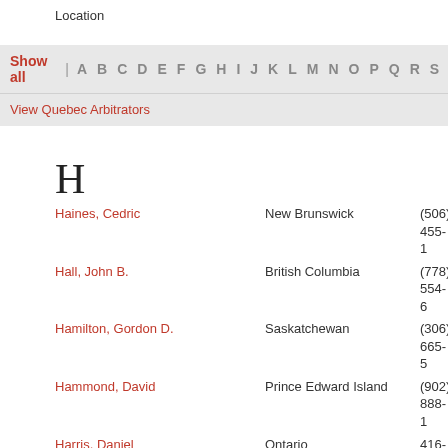Location
Show all | A B C D E F G H I J K L M N O P Q R S
View Quebec Arbitrators
H
Haines, Cedric — New Brunswick — (506) 455-1
Hall, John B. — British Columbia — (778) 554-6
Hamilton, Gordon D. — Saskatchewan — (306) 665-5
Hammond, David — Prince Edward Island — (902) 888-1
Harris, Daniel — Ontario — 416-460-01
Hawco, The Hon. Gerard C. — Alberta — 404-305-24
Hayes, James — Ontario — (416) 565-2
Herlich, Bram — Ontario — (416) 466-5
Herman, Robert — Ontario — (416) 784-3
Hinnegan, Allan — Ontario — (416) 860-0
Hodges, Tom — Ontario — (905) 262-7
Holden, Irene — British Columbia — (604) 691-2
Hollett, Karen — Nova Scotia — 902-430-48
Hooley, David — Prince Edward Island — (902) 629-3
Hornung, Richard — Alberta — (403) 278-3